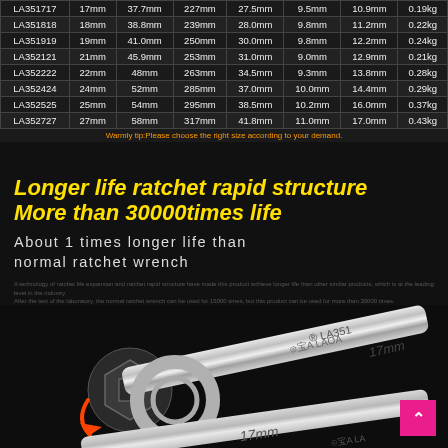| Model | Size | Head OD | Length | Head W | Thickness | Handle W | Weight |
| --- | --- | --- | --- | --- | --- | --- | --- |
| LA351717 | 17mm | 37.7mm | 227mm | 27.5mm | 9.5mm | 10.9mm | 0.19kg |
| LA351818 | 18mm | 38.8mm | 239mm | 28.0mm | 9.8mm | 11.2mm | 0.22kg |
| LA351919 | 19mm | 41.0mm | 250mm | 30.0mm | 9.8mm | 12.2mm | 0.24kg |
| LA352121 | 21mm | 45.9mm | 253mm | 31.0mm | 9.0mm | 12.9mm | 0.21kg |
| LA352222 | 22mm | 48mm | 263mm | 34.5mm | 9.3mm | 13.8mm | 0.28kg |
| LA352424 | 24mm | 52mm | 285mm | 37.0mm | 10.0mm | 14.4mm | 0.29kg |
| LA352525 | 25mm | 54mm | 295mm | 38.5mm | 10.2mm | 16.0mm | 0.37kg |
| LA352727 | 27mm | 58mm | 317mm | 41.8mm | 11.0mm | 17.0mm | 0.43kg |
Warmly tip:Please choose the right size according to your demand.
Longer life ratchet rapid structure More than 30000times life
About 1 times longer life than normal ratchet wrench
Fine print description about longer life ratchet rapid structure benefits and performance characteristics.
[Figure (photo): Close-up photo of a LAOA brand 17mm combination ratchet wrench with an arrow showing rotation direction on a bolt, dark background. Product model LA351717 engraved on handle.]